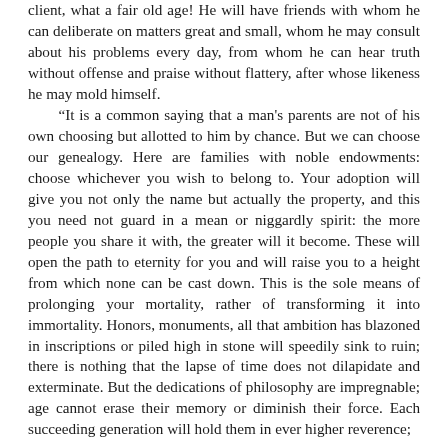client, what a fair old age! He will have friends with whom he can deliberate on matters great and small, whom he may consult about his problems every day, from whom he can hear truth without offense and praise without flattery, after whose likeness he may mold himself.
"It is a common saying that a man's parents are not of his own choosing but allotted to him by chance. But we can choose our genealogy. Here are families with noble endowments: choose whichever you wish to belong to. Your adoption will give you not only the name but actually the property, and this you need not guard in a mean or niggardly spirit: the more people you share it with, the greater will it become. These will open the path to eternity for you and will raise you to a height from which none can be cast down. This is the sole means of prolonging your mortality, rather of transforming it into immortality. Honors, monuments, all that ambition has blazoned in inscriptions or piled high in stone will speedily sink to ruin; there is nothing that the lapse of time does not dilapidate and exterminate. But the dedications of philosophy are impregnable; age cannot erase their memory or diminish their force. Each succeeding generation will hold them in ever higher reverence;